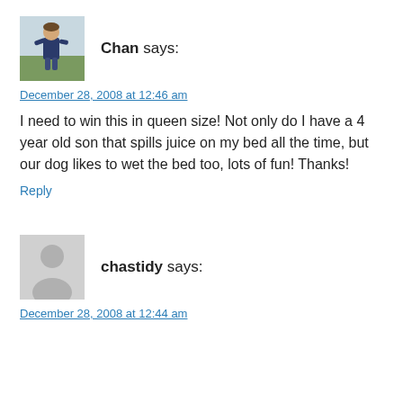[Figure (photo): Profile photo of Chan - a young child outdoors on grass]
Chan says:
December 28, 2008 at 12:46 am
I need to win this in queen size! Not only do I have a 4 year old son that spills juice on my bed all the time, but our dog likes to wet the bed too, lots of fun! Thanks!
Reply
[Figure (illustration): Default gray avatar silhouette placeholder for chastidy]
chastidy says:
December 28, 2008 at 12:44 am